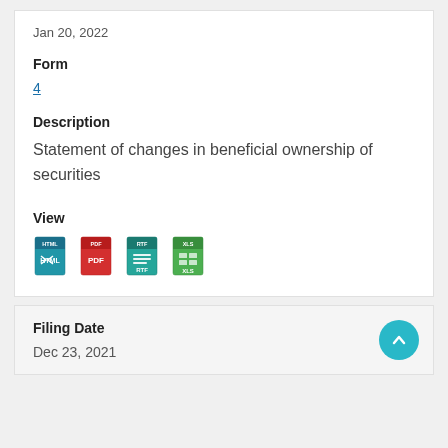Jan 20, 2022
Form
4
Description
Statement of changes in beneficial ownership of securities
View
[Figure (illustration): Four file format icons: HTML (blue), PDF (red), RTF (teal/blue), XLS (green)]
Filing Date
Dec 23, 2021